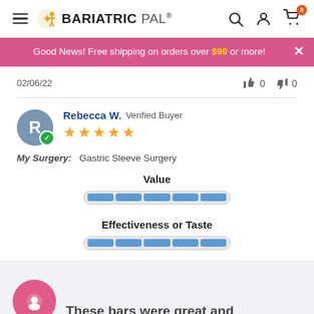BariatricPal
Good News! Free shipping on orders over $99 or more!
02/06/22
0   0
Rebecca W.  Verified Buyer
My Surgery:   Gastric Sleeve Surgery
Value
Effectiveness or Taste
These bars were great and